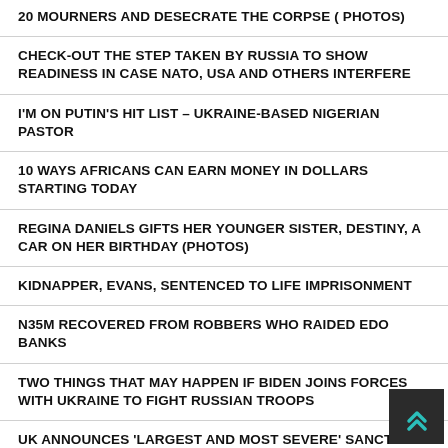20 MOURNERS AND DESECRATE THE CORPSE ( PHOTOS)
CHECK-OUT THE STEP TAKEN BY RUSSIA TO SHOW READINESS IN CASE NATO, USA AND OTHERS INTERFERE
I'M ON PUTIN'S HIT LIST – UKRAINE-BASED NIGERIAN PASTOR
10 WAYS AFRICANS CAN EARN MONEY IN DOLLARS STARTING TODAY
REGINA DANIELS GIFTS HER YOUNGER SISTER, DESTINY, A CAR ON HER BIRTHDAY (PHOTOS)
KIDNAPPER, EVANS, SENTENCED TO LIFE IMPRISONMENT
N35M RECOVERED FROM ROBBERS WHO RAIDED EDO BANKS
TWO THINGS THAT MAY HAPPEN IF BIDEN JOINS FORCES WITH UKRAINE TO FIGHT RUSSIAN TROOPS
UK ANNOUNCES 'LARGEST AND MOST SEVERE' SANCTIONS AGAINST RUSSIA